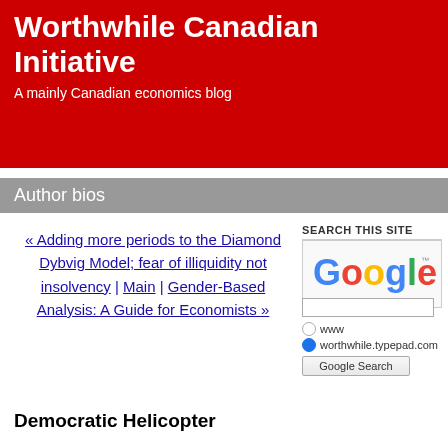Worthwhile Canadian Initiative
A mainly Canadian economics blog
Author bios
« Adding more periods to the Diamond Dybvig Model; fear of illiquidity not insolvency | Main | Gender-Based Analysis: A Guide for Economists »
Democratic Helicopter
SEARCH THIS SITE
[Figure (logo): Google logo with colorful letters and trademark symbol]
www
worthwhile.typepad.com
Google Search